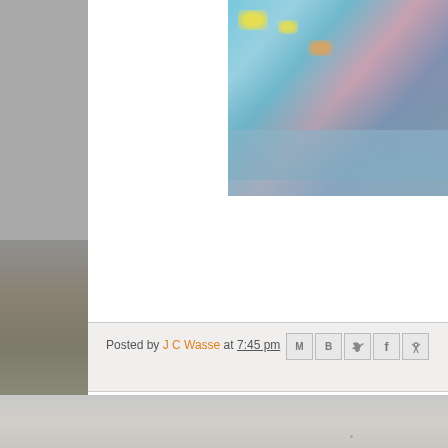[Figure (photo): Underwater photo showing colorful fish and coral reef with blue water, partially visible in top right portion of page]
Posted by J C Wasse at 7:45 pm
[Figure (infographic): Social share icons: Email (M), Blogger (B), Twitter (bird), Facebook (f), Pinterest (P)]
Newer Posts
Home
Subscribe to: Posts (Atom)